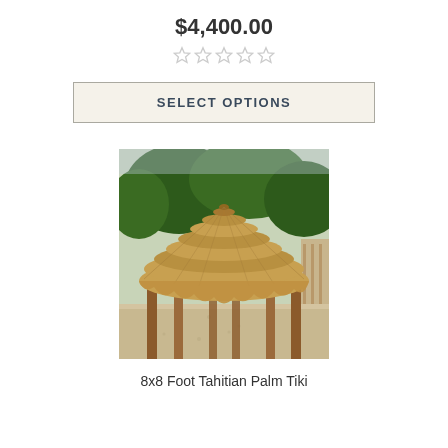$4,400.00
[Figure (other): Five empty star rating icons in gray]
SELECT OPTIONS
[Figure (photo): Outdoor 8x8 foot Tahitian Palm Tiki hut with thatched palm roof and wooden posts, set on a gravel surface with trees in the background]
8x8 Foot Tahitian Palm Tiki